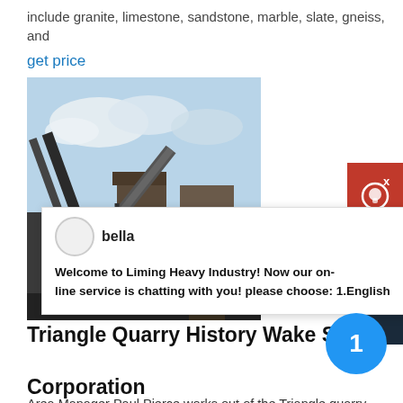include granite, limestone, sandstone, marble, slate, gneiss, and
get price
[Figure (photo): Photograph of a quarry with industrial conveyor belts and machinery against a cloudy sky]
[Figure (screenshot): Chat widget overlay from Liming Heavy Industry showing avatar named bella with message: Welcome to Liming Heavy Industry! Now our on-line service is chatting with you! please choose: 1.English]
Triangle Quarry History Wake Stone Corporation
Area Manager Paul Pierce works out of the Triangle quarry, and has oversight responsibilities for Triangle, Moncure and Nash County operations. Paul, who came to Wake Stone without previous quarry experience in 1986, was trained by Ted Bratton